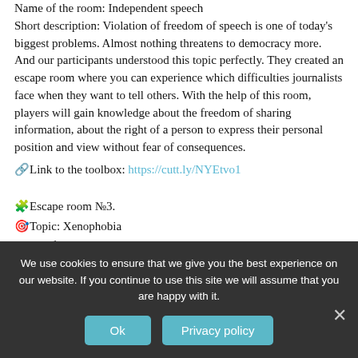Name of the room: Independent speech Short description: Violation of freedom of speech is one of today's biggest problems. Almost nothing threatens to democracy more. And our participants understood this topic perfectly. They created an escape room where you can experience which difficulties journalists face when they want to tell others. With the help of this room, players will gain knowledge about the freedom of sharing information, about the right of a person to express their personal position and view without fear of consequences.
🔗 Link to the toolbox: https://cutt.ly/NYEtvo1
🧩 Escape room №3. 🎯 Topic: Xenophobia Name of the room: Birou de resedinte
We use cookies to ensure that we give you the best experience on our website. If you continue to use this site we will assume that you are happy with it.